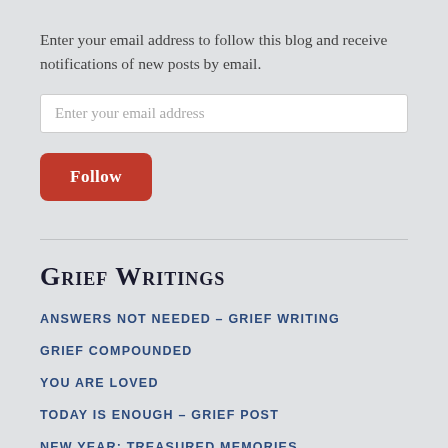Enter your email address to follow this blog and receive notifications of new posts by email.
Enter your email address
Follow
Grief Writings
ANSWERS NOT NEEDED – GRIEF WRITING
GRIEF COMPOUNDED
YOU ARE LOVED
TODAY IS ENOUGH – GRIEF POST
NEW YEAR: TREASURED MEMORIES